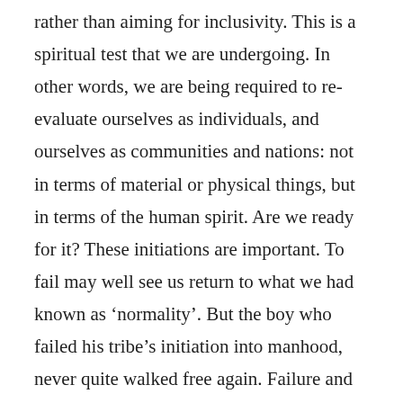rather than aiming for inclusivity. This is a spiritual test that we are undergoing. In other words, we are being required to re-evaluate ourselves as individuals, and ourselves as communities and nations: not in terms of material or physical things, but in terms of the human spirit. Are we ready for it? These initiations are important. To fail may well see us return to what we had known as ‘normality’. But the boy who failed his tribe’s initiation into manhood, never quite walked free again. Failure and stigma can haunt the human psyche. Are we ready to make the change into adulthood? Or just as importantly, are we ready to face the consequent awareness that we as a species had been given a chance to emerge into adulthood, but had blown it?